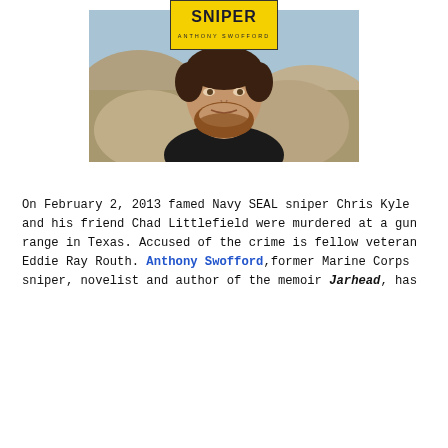[Figure (logo): Book cover logo with yellow background, title 'SNIPER' in bold dark letters, and 'ANTHONY SWOFFORD' below in smaller letters]
[Figure (photo): Portrait photo of a man with brown hair and beard wearing a black shirt, leaning against a rock with outdoor background]
On February 2, 2013 famed Navy SEAL sniper Chris Kyle and his friend Chad Littlefield were murdered at a gun range in Texas. Accused of the crime is fellow veteran Eddie Ray Routh. Anthony Swofford, former Marine Corps sniper, novelist and author of the memoir Jarhead, has